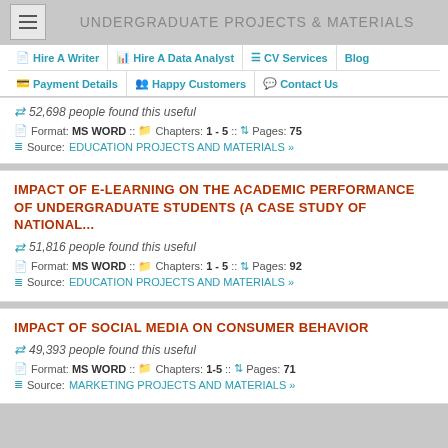UNDERGRADUATE PROJECTS & MATERIALS
Hire A Writer | Hire A Data Analyst | CV Services | Blog | Payment Details | Happy Customers | Contact Us
52,698 people found this useful
Format: MS WORD :: Chapters: 1 - 5 :: Pages: 75
Source: EDUCATION PROJECTS AND MATERIALS »
IMPACT OF E-LEARNING ON THE ACADEMIC PERFORMANCE OF UNDERGRADUATE STUDENTS (A CASE STUDY OF NATIONAL...
51,816 people found this useful
Format: MS WORD :: Chapters: 1 - 5 :: Pages: 92
Source: EDUCATION PROJECTS AND MATERIALS »
IMPACT OF SOCIAL MEDIA ON CONSUMER BEHAVIOR
49,393 people found this useful
Format: MS WORD :: Chapters: 1-5 :: Pages: 71
Source: MARKETING PROJECTS AND MATERIALS »